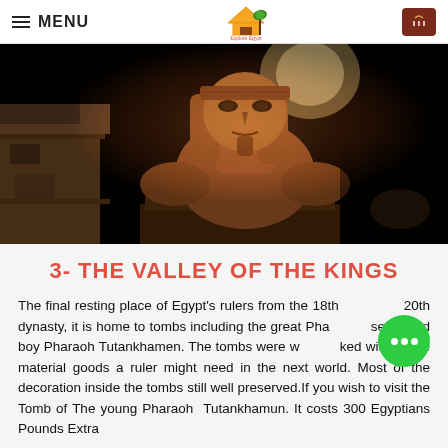MENU
[Figure (photo): Nighttime photo of an ancient Egyptian pharaoh statue (sphinx-like) illuminated in orange light against a dark background, with stone ruins on the left.]
3- THE VALLEY OF THE KINGS
The final resting place of Egypt's rulers from the 18th to 20th dynasty, it is home to tombs including the great Pharaoh Ramses II and boy Pharaoh Tutankhamen. The tombs were well stocked with all the material goods a ruler might need in the next world. Most of the decoration inside the tombs still well preserved.If you wish to visit the Tomb of The young Pharaoh Tutankhamun. It costs 300 Egyptians Pounds Extra